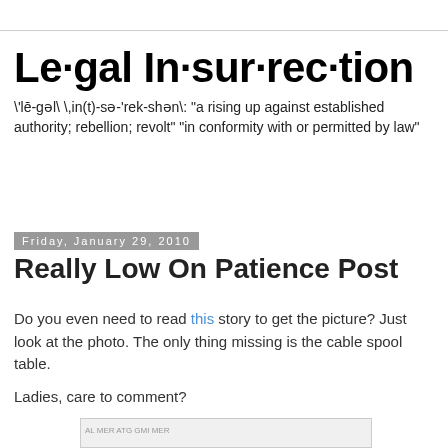Le·gal In·sur·rec·tion
\'lē-gəl\ \,in(t)-sə-'rek-shən\: "a rising up against established authority; rebellion; revolt" "in conformity with or permitted by law"
Friday, January 29, 2010
Really Low On Patience Post
Do you even need to read this story to get the picture? Just look at the photo. The only thing missing is the cable spool table.
Ladies, care to comment?
[Figure (screenshot): Partial image stub at bottom of page]